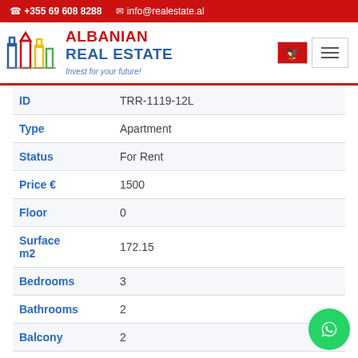+355 69 608 8288   info@realestate.al
[Figure (logo): Albanian Real Estate logo with building icons and tagline 'Invest for your future!']
| Field | Value |
| --- | --- |
| ID | TRR-1119-12L |
| Type | Apartment |
| Status | For Rent |
| Price € | 1500 |
| Floor | 0 |
| Surface m2 | 172.15 |
| Bedrooms | 3 |
| Bathrooms | 2 |
| Balcony | 2 |